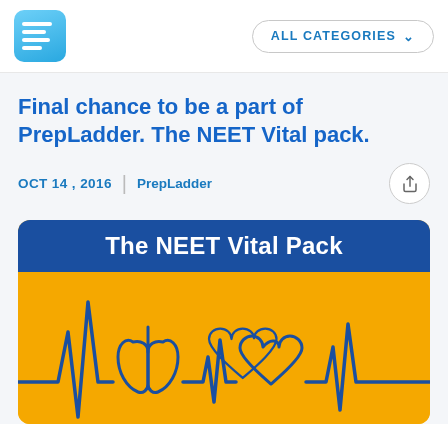[Figure (logo): PrepLadder app logo - blue rounded square with white horizontal lines]
ALL CATEGORIES ▾
Final chance to be a part of PrepLadder. The NEET Vital pack.
OCT 14 , 2016  |  PrepLadder
[Figure (illustration): The NEET Vital Pack promotional banner with orange background, blue header strip reading 'The NEET Vital Pack', and ECG/heartbeat line with medical organ illustrations (lungs, heart) in blue on orange background]